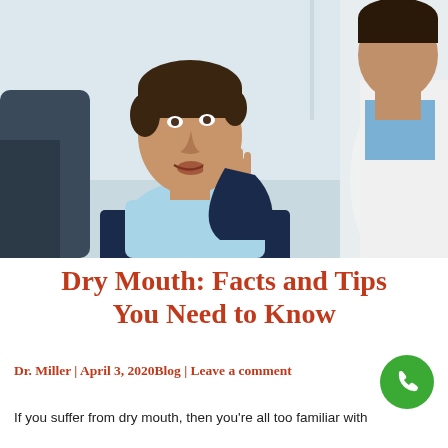[Figure (photo): A young man sitting in a dental chair, touching his cheek/jaw in discomfort, wearing a dental bib, while a dentist (seen from behind) faces him in a bright clinical setting.]
Dry Mouth: Facts and Tips You Need to Know
Dr. Miller | April 3, 2020Blog | Leave a comment
If you suffer from dry mouth, then you're all too familiar with